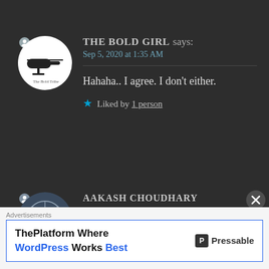THE BOLD GIRL says: Sep 5, 2020 at 1:35 AM
Hahaha.. I agree. I don't either.
★ Liked by 1 person
AAKASH CHOUDHARY says: Sep 4, 2020 at 8:07 PM
Advertisements
ThePlatform Where WordPress Works Best  Pressable